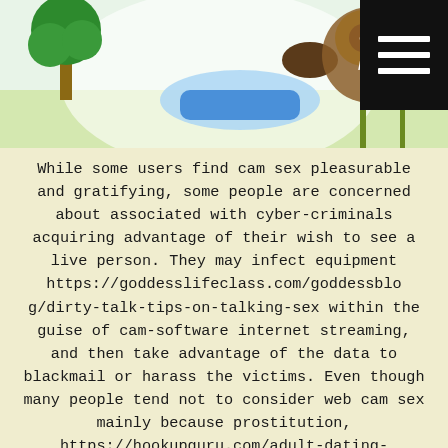[Figure (illustration): Cartoon illustration of a person with sunflowers and a tree on a light background, with a black hamburger menu icon in the top right corner]
While some users find cam sex pleasurable and gratifying, some people are concerned about associated with cyber-criminals acquiring advantage of their wish to see a live person. They may infect equipment https://goddesslifeclass.com/goddessblog/dirty-talk-tips-on-talking-sex within the guise of cam-software internet streaming, and then take advantage of the data to blackmail or harass the victims. Even though many people tend not to consider web cam sex mainly because prostitution, https://hookupguru.com/adult-dating-